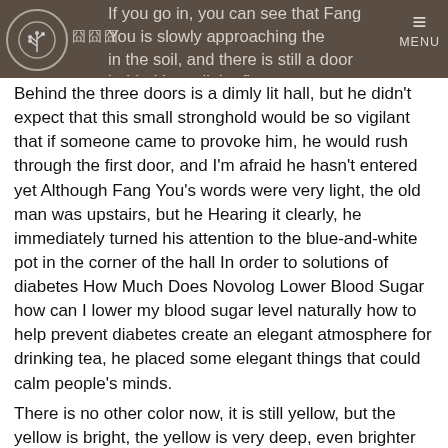If you go in, you can see that Fang You is slowly approaching the … in the soil, and there is still a door behind it, until the first …
Behind the three doors is a dimly lit hall, but he didn't expect that this small stronghold would be so vigilant that if someone came to provoke him, he would rush through the first door, and I'm afraid he hasn't entered yet Although Fang You's words were very light, the old man was upstairs, but he Hearing it clearly, he immediately turned his attention to the blue-and-white pot in the corner of the hall In order to solutions of diabetes How Much Does Novolog Lower Blood Sugar how can I lower my blood sugar level naturally how to help prevent diabetes create an elegant atmosphere for drinking tea, he placed some elegant things that could calm people's minds.
There is no other color now, it is still yellow, but the yellow is bright, the yellow is very deep, even brighter than the bright yellow in his home The Huadiao wine is even deeper It can be said that Tianhai, an ignorant young man who has obtained the escape technique, has grown into a mature person, and has laid a solid foundation for the various things he does later There is no slow and gentle Taijiquan.